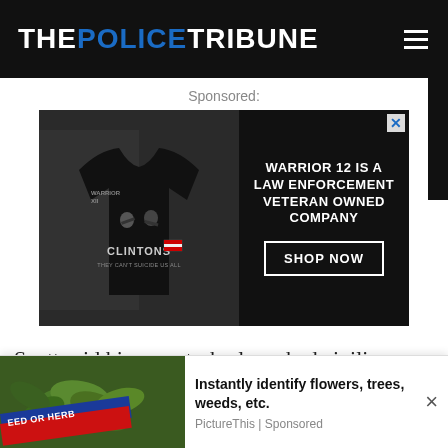THE POLICE TRIBUNE
Sponsored:
[Figure (illustration): Advertisement for Warrior 12, a law enforcement veteran owned company, showing a black t-shirt with 'Clintons They Can't Suicide Us All' print, with text 'WARRIOR 12 IS A LAW ENFORCEMENT VETERAN OWNED COMPANY' and a 'SHOP NOW' button.]
Scott said his soon-to-be-launched civilian detective corps specialists will
[Figure (illustration): Bottom ad banner: image of plants with 'WEED OR HERB' badge, with text 'Instantly identify flowers, trees, weeds, etc.' and 'PictureThis | Sponsored']